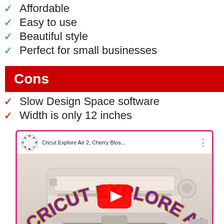Affordable
Easy to use
Beautiful style
Perfect for small businesses
Cons
Slow Design Space software
Width is only 12 inches
[Figure (screenshot): YouTube video thumbnail for 'Cricut Explore Air 2, Cherry Blos...' showing the Cricut Explore Air 2 machine with overlaid text 'CRICUT EXPLORE AIR 2' in purple and gold, with a red YouTube play button in the center.]